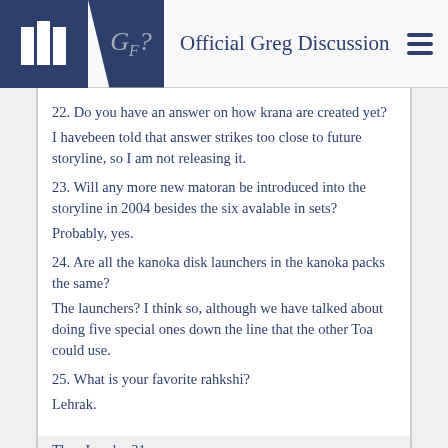Official Greg Discussion
22. Do you have an answer on how krana are created yet?
I havebeen told that answer strikes too close to future storyline, so I am not releasing it.
23. Will any more new matoran be introduced into the storyline in 2004 besides the six avalable in sets?
Probably, yes.
24. Are all the kanoka disk launchers in the kanoka packs the same?
The launchers? I think so, although we have talked about doing five special ones down the line that the other Toa could use.
25. What is your favorite rahkshi?
Lehrak.
Then I reply: 31...